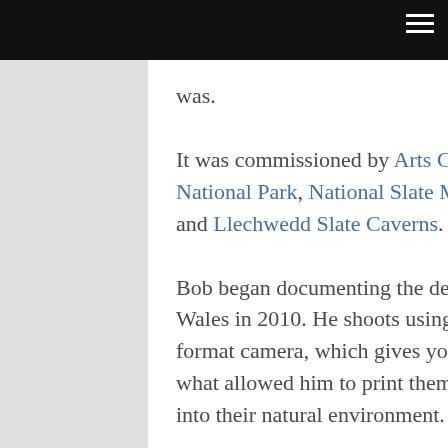was.
It was commissioned by Arts Council of Wales, Snowdonia National Park, National Slate Musuem, Gwynedd Council and Llechwedd Slate Caverns.
Bob began documenting the declining slate industry in North Wales in 2010. He shoots using a Horseman 5×4 large format camera, which gives you HUGE images. Which is what allowed him to print them so large and paste them back into their natural environment.